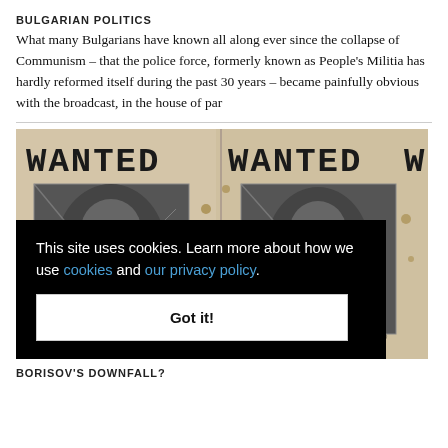BULGARIAN POLITICS
What many Bulgarians have known all along ever since the collapse of Communism – that the police force, formerly known as People's Militia has hardly reformed itself during the past 30 years – became painfully obvious with the broadcast, in the house of par
[Figure (photo): Weathered 'WANTED' posters displayed side by side, with faded and damaged black-and-white photographs, rusted and distressed surfaces]
This site uses cookies. Learn more about how we use cookies and our privacy policy.
Got it!
BORISOV'S DOWNFALL?